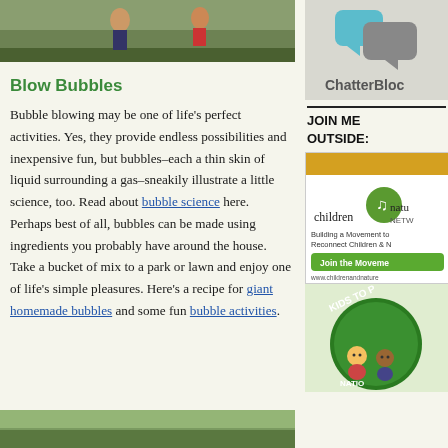[Figure (photo): Photo of children playing outdoors on grass, top of left column]
Blow Bubbles
Bubble blowing may be one of life’s perfect activities. Yes, they provide endless possibilities and inexpensive fun, but bubbles–each a thin skin of liquid surrounding a gas–sneakily illustrate a little science, too. Read about bubble science here. Perhaps best of all, bubbles can be made using ingredients you probably have around the house. Take a bucket of mix to a park or lawn and enjoy one of life’s simple pleasures. Here’s a recipe for giant homemade bubbles and some fun bubble activities.
[Figure (photo): Photo of outdoor nature scene, bottom of left column]
[Figure (logo): ChatterBlock logo with speech bubble icons in teal/blue and gray, top of right column]
JOIN ME OUTSIDE:
[Figure (illustration): Children and Nature Network advertisement with yellow/green banner, leaf logo, text 'Building a Movement to Reconnect Children & N...', green Join the Movement button, and website url www.childrenandnature...]
[Figure (illustration): Kids to Parks logo with cartoon children and nature scene in circular green badge]